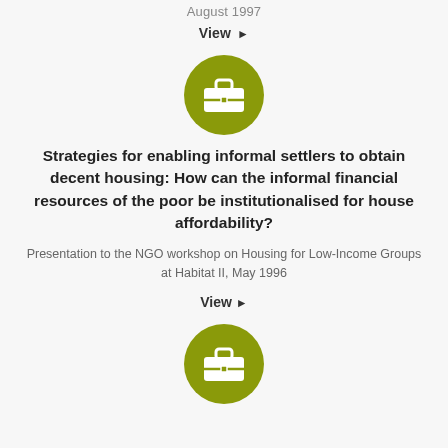August 1997
View ▶
[Figure (illustration): Olive green circle with white briefcase/portfolio icon in the center]
Strategies for enabling informal settlers to obtain decent housing: How can the informal financial resources of the poor be institutionalised for house affordability?
Presentation to the NGO workshop on Housing for Low-Income Groups at Habitat II, May 1996
View ▶
[Figure (illustration): Olive green circle with white briefcase/portfolio icon in the center (partially visible at bottom)]